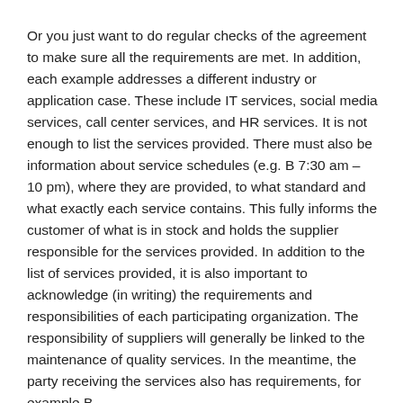Or you just want to do regular checks of the agreement to make sure all the requirements are met. In addition, each example addresses a different industry or application case. These include IT services, social media services, call center services, and HR services. It is not enough to list the services provided. There must also be information about service schedules (e.g. B 7:30 am – 10 pm), where they are provided, to what standard and what exactly each service contains. This fully informs the customer of what is in stock and holds the supplier responsible for the services provided. In addition to the list of services provided, it is also important to acknowledge (in writing) the requirements and responsibilities of each participating organization. The responsibility of suppliers will generally be linked to the maintenance of quality services. In the meantime, the party receiving the services also has requirements, for example.B.